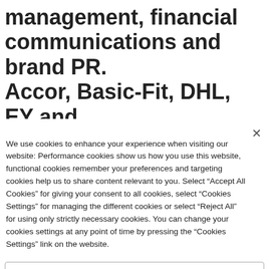management, financial communications and brand PR. Accor, Basic-Fit, DHL, EY and Oracle are some of our clients
We use cookies to enhance your experience when visiting our website: Performance cookies show us how you use this website, functional cookies remember your preferences and targeting cookies help us to share content relevant to you. Select “Accept All Cookies” for giving your consent to all cookies, select “Cookies Settings” for managing the different cookies or select “Reject All” for using only strictly necessary cookies. You can change your cookies settings at any point of time by pressing the “Cookies Settings” link on the website.
Cookies Settings
Reject All